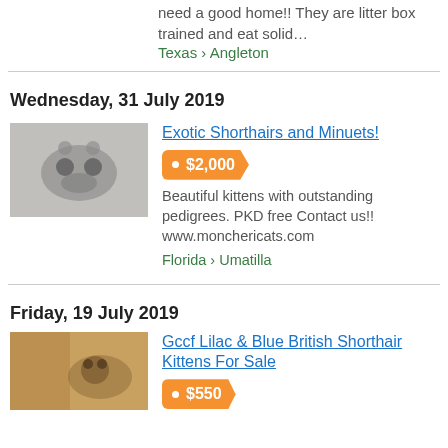need a good home!! They are litter box trained and eat solid…
Texas › Angleton
Wednesday, 31 July 2019
[Figure (photo): Photo of kittens, small dark-colored cats]
Exotic Shorthairs and Minuets! · $2,000
Beautiful kittens with outstanding pedigrees. PKD free Contact us!! www.monchericats.com
Florida › Umatilla
Friday, 19 July 2019
[Figure (photo): Photo of a British Shorthair kitten]
Gccf Lilac & Blue British Shorthair Kittens For Sale · $550